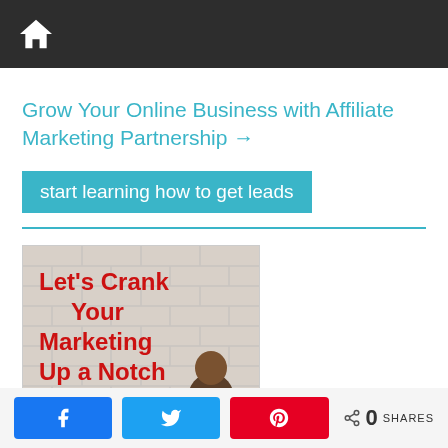🏠
Grow Your Online Business with Affiliate Marketing Partnership →
start learning how to get leads
[Figure (photo): Promotional image with red bold text 'Let's Crank Your Marketing Up a Notch' on a brick wall background, with a person standing arms crossed on the right side.]
0 SHARES